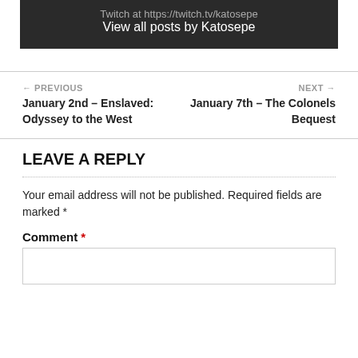Twitch at https://twitch.tv/katosepe
View all posts by Katosepe
← PREVIOUS
January 2nd – Enslaved: Odyssey to the West
NEXT →
January 7th – The Colonels Bequest
LEAVE A REPLY
Your email address will not be published. Required fields are marked *
Comment *